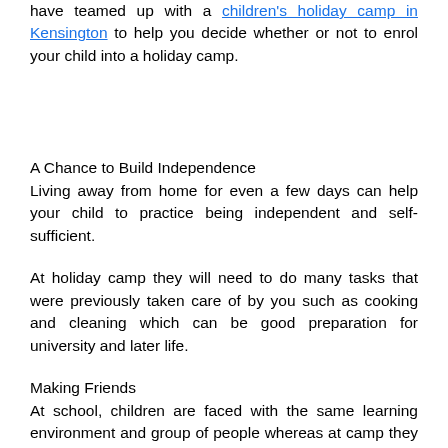have teamed up with a children's holiday camp in Kensington to help you decide whether or not to enrol your child into a holiday camp.
A Chance to Build Independence
Living away from home for even a few days can help your child to practice being independent and self-sufficient.
At holiday camp they will need to do many tasks that were previously taken care of by you such as cooking and cleaning which can be good preparation for university and later life.
Making Friends
At school, children are faced with the same learning environment and group of people whereas at camp they can meet new individuals from a wide range of backgrounds. This can teach them how to deal with